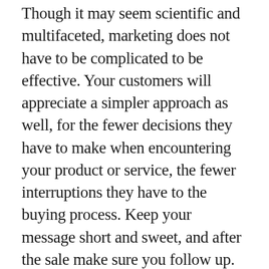Though it may seem scientific and multifaceted, marketing does not have to be complicated to be effective. Your customers will appreciate a simpler approach as well, for the fewer decisions they have to make when encountering your product or service, the fewer interruptions they have to the buying process. Keep your message short and sweet, and after the sale make sure you follow up. An email newsletter is an excellent way to touch base with customers to both show your appreciation for their patronage and deliver useful information about upcoming events.
You don't have to reinvent the wheel to succeed at marketing your business. The wheels are already there. You just need to use them effectively to drive